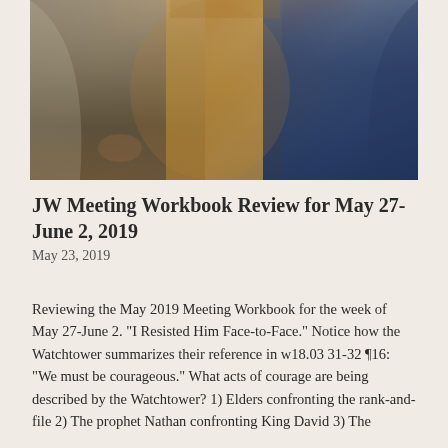[Figure (illustration): A painting depicting robed figures, likely a biblical scene. The left figure wears light/grey robes, the center shows warm orange/gold tones possibly a scroll or object, and the right figure wears dark blue robes.]
JW Meeting Workbook Review for May 27-June 2, 2019
May 23, 2019
Reviewing the May 2019 Meeting Workbook for the week of May 27-June 2. "I Resisted Him Face-to-Face." Notice how the Watchtower summarizes their reference in w18.03 31-32 ¶16: "We must be courageous." What acts of courage are being described by the Watchtower? 1) Elders confronting the rank-and-file 2) The prophet Nathan confronting King David 3) The